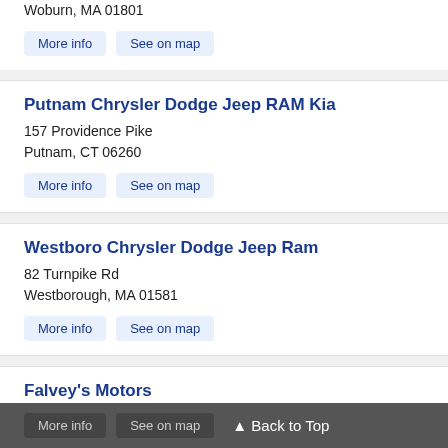Woburn, MA 01801
More info | See on map
Putnam Chrysler Dodge Jeep RAM Kia
157 Providence Pike
Putnam, CT 06260
More info | See on map
Westboro Chrysler Dodge Jeep Ram
82 Turnpike Rd
Westborough, MA 01581
More info | See on map
Falvey's Motors
395 W Thames St
Norwich, CT 06360
More info  See on map  ▲ Back to Top